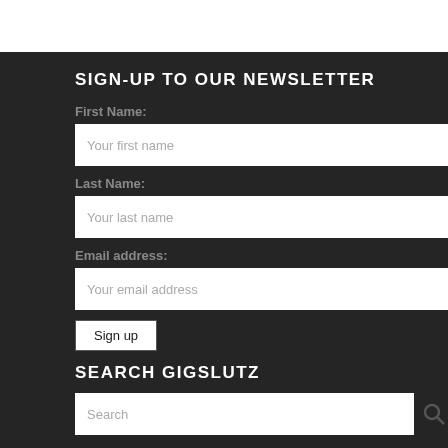SIGN-UP TO OUR NEWSLETTER
First Name:
Your first name
Last Name:
Your last name
Email address:
Your email address
Sign up
SEARCH GIGSLUTZ
Search
CONNECT WITH US